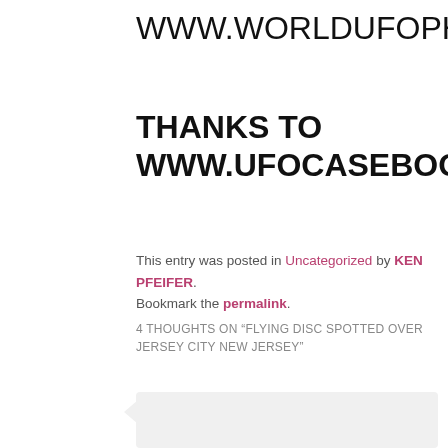WWW.WORLDUFOPHOTOS.ORG
THANKS TO WWW.UFOCASEBOOK.COM
This entry was posted in Uncategorized by KEN PFEIFER. Bookmark the permalink.
4 THOUGHTS ON "FLYING DISC SPOTTED OVER JERSEY CITY NEW JERSEY"
[Figure (illustration): User avatar placeholder — gray square with white silhouette person icon]
garageband for windows on October 17, 2017 at 10:11 am said: